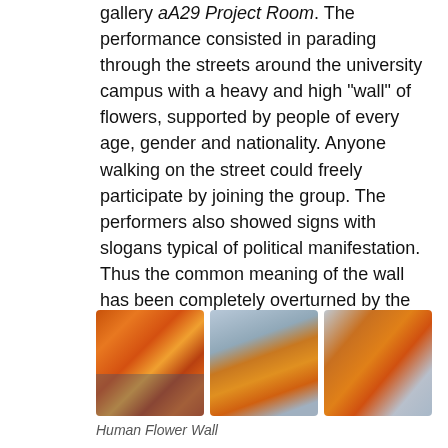gallery aA29 Project Room. The performance consisted in parading through the streets around the university campus with a heavy and high "wall" of flowers, supported by people of every age, gender and nationality. Anyone walking on the street could freely participate by joining the group. The performers also showed signs with slogans typical of political manifestation. Thus the common meaning of the wall has been completely overturned by the artists.
[Figure (photo): Three photos showing performers carrying a large wall of colorful flowers through city streets]
Human Flower Wall